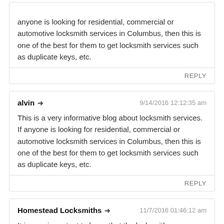anyone is looking for residential, commercial or automotive locksmith services in Columbus, then this is one of the best for them to get locksmith services such as duplicate keys, etc.
REPLY
alvin → 9/14/2016 12:12:35 am
This is a very informative blog about locksmith services. If anyone is looking for residential, commercial or automotive locksmith services in Columbus, then this is one of the best for them to get locksmith services such as duplicate keys, etc.
REPLY
Homestead Locksmiths → 11/7/2016 01:46:12 am
It is very important to know that the locksmith you are considering is reputable and qualified for the job It is certainly worthwhile getting recommendations from friends and neighbors about locksmith services that they trust. Also, check for online testimonials; In short, the more information you